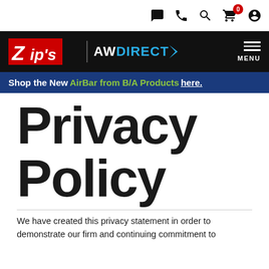Zip's AW Direct — navigation icons: chat, phone, search, cart (0), account
[Figure (logo): Zip's AW Direct logo on black navigation bar with MENU button]
Shop the New AirBar from B/A Products here.
Privacy Policy
We have created this privacy statement in order to demonstrate our firm and continuing commitment to